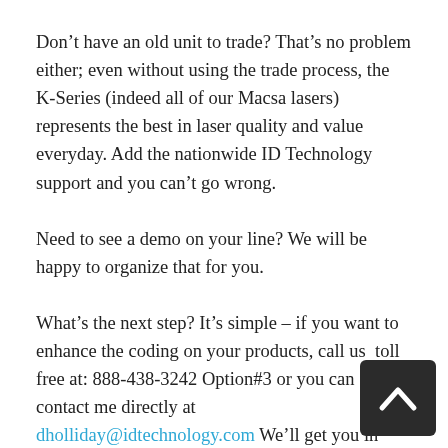Don't have an old unit to trade? That's no problem either; even without using the trade process, the K-Series (indeed all of our Macsa lasers) represents the best in laser quality and value everyday. Add the nationwide ID Technology support and you can't go wrong.
Need to see a demo on your line? We will be happy to organize that for you.
What's the next step? It's simple – if you want to enhance the coding on your products, call us  toll free at: 888-438-3242 Option#3 or you can contact me directly at dholliday@idtechnology.com We'll get you in touch with one of our laser specialists, right in your area who can help you determine which laser is the right one for your application